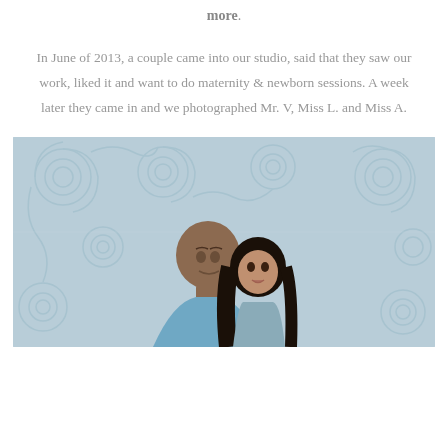more.
In June of 2013, a couple came into our studio, said that they saw our work, liked it and want to do maternity & newborn sessions. A week later they came in and we photographed Mr. V, Miss L. and Miss A.
[Figure (photo): A couple posing in front of a light blue decorative scrollwork background. A bald man faces the camera and a woman with dark hair leans against him. The photo is cropped to show their upper bodies.]